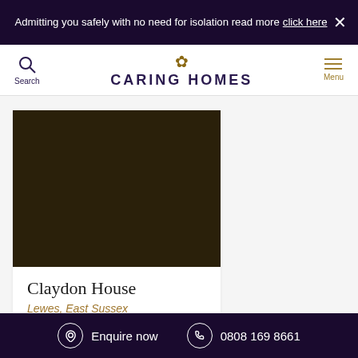Admitting you safely with no need for isolation read more click here
[Figure (logo): Caring Homes logo with flower icon and brand name]
[Figure (photo): Dark brown/near-black image placeholder for Claydon House care home]
Claydon House
Lewes, East Sussex
0808 223 5418
Enquire now   0808 169 8661